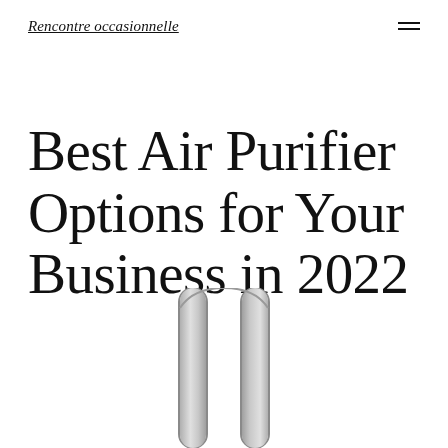Rencontre occasionnelle
Best Air Purifier Options for Your Business in 2022
[Figure (photo): Bottom portion of a tall cylindrical air purifier (likely a Dyson), showing the loop amplifier top section in silver/grey against a white background]